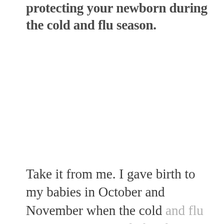protecting your newborn during the cold and flu season.
Take it from me. I gave birth to my babies in October and November when the cold and flu starts rearing its ugly head.